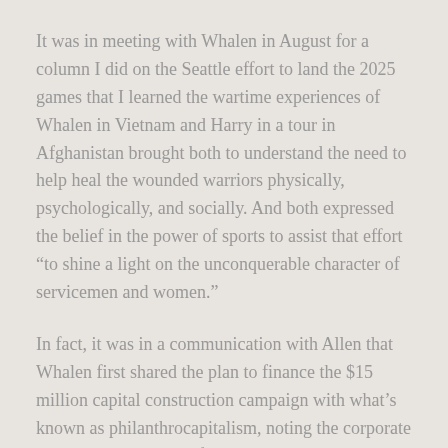It was in meeting with Whalen in August for a column I did on the Seattle effort to land the 2025 games that I learned the wartime experiences of Whalen in Vietnam and Harry in a tour in Afghanistan brought both to understand the need to help heal the wounded warriors physically, psychologically, and socially. And both expressed the belief in the power of sports to assist that effort “to shine a light on the unconquerable character of servicemen and women.”
In fact, it was in a communication with Allen that Whalen first shared the plan to finance the $15 million capital construction campaign with what’s known as philanthrocapitalism, noting the corporate structure will be that of a healthcare REIT that “fuses the